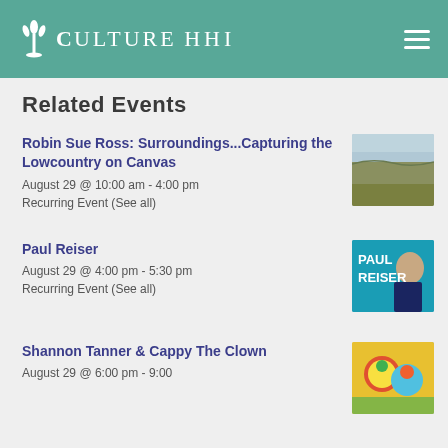Culture HHI
Related Events
Robin Sue Ross: Surroundings...Capturing the Lowcountry on Canvas
August 29 @ 10:00 am - 4:00 pm
Recurring Event (See all)
[Figure (photo): Landscape painting of Lowcountry marsh and water]
Paul Reiser
August 29 @ 4:00 pm - 5:30 pm
Recurring Event (See all)
[Figure (photo): Paul Reiser promotional image on teal background with his name in bold white text]
Shannon Tanner & Cappy The Clown
August 29 @ 6:00 pm - 9:00